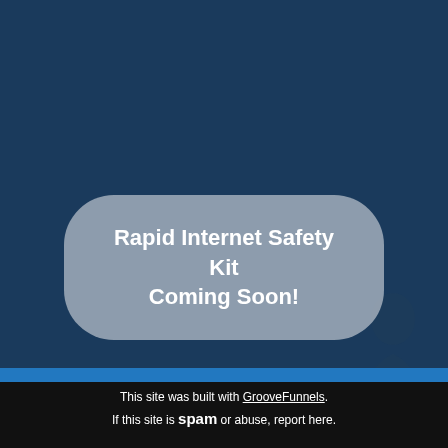[Figure (illustration): Dark navy blue background with a faint silhouette of a person in the lower right corner]
Rapid Internet Safety Kit Coming Soon!
This site was built with GrooveFunnels. If this site is spam or abuse, report here.